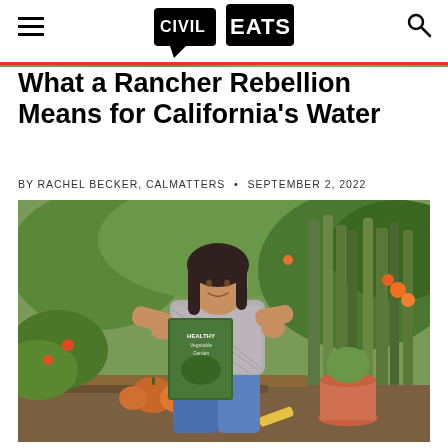CIVIL EATS
What a Rancher Rebellion Means for California's Water
BY RACHEL BECKER, CALMATTERS • SEPTEMBER 2, 2022
[Figure (photo): Woman sitting outdoors in a lush vegetable garden holding a book titled 'Healthy Vegetable Garden', surrounded by plants including leeks, marigolds, squash, and nasturtiums. Several pumpkins and a terracotta pot are visible nearby.]